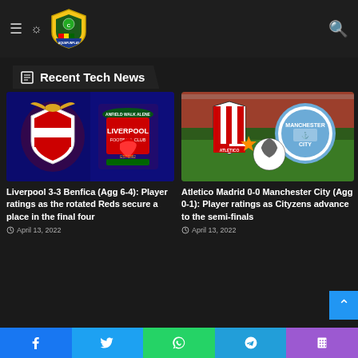AQUAFUNPLAY header with hamburger menu, brightness toggle, logo, and search icon
Recent Tech News
[Figure (photo): Liverpool vs Benfica football club logos on blue background]
Liverpool 3-3 Benfica (Agg 6-4): Player ratings as the rotated Reds secure a place in the final four
April 13, 2022
[Figure (photo): Atletico Madrid vs Manchester City logos with football on stadium grass]
Atletico Madrid 0-0 Manchester City (Agg 0-1): Player ratings as Cityzens advance to the semi-finals
April 13, 2022
Social share buttons: Facebook, Twitter, WhatsApp, Telegram, Phone